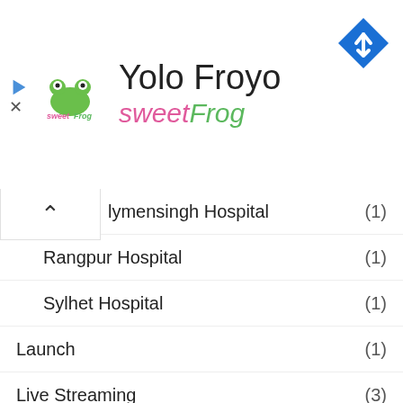[Figure (logo): sweetFrog frozen yogurt logo - pink and green text with frog icon]
Yolo Froyo
sweetFrog
[Figure (other): Blue diamond navigation/directions icon with white right-turn arrow]
lymensingh Hospital (1)
Rangpur Hospital (1)
Sylhet Hospital (1)
Launch (1)
Live Streaming (3)
Rajshahi (5)
Sports (1)
Cricket (1)
Football (1)